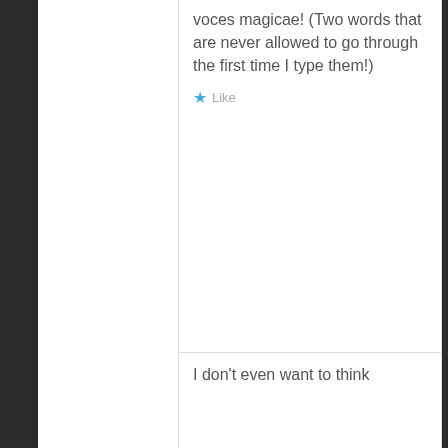voces magicae! (Two words that are never allowed to go through the first time I type them!)
Like
tetradactyl says: 04/18/2020 at 2:14 PM
I don't even want to think